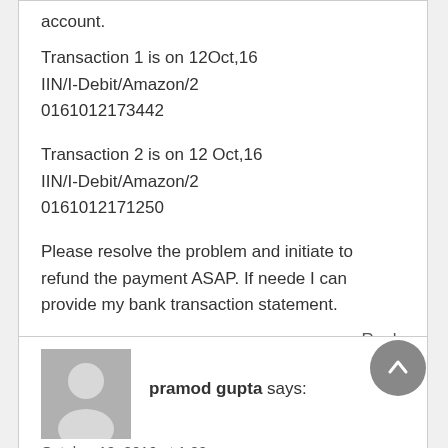account.
Transaction 1 is on 12Oct,16
IIN/I-Debit/Amazon/2
0161012173442
Transaction 2 is on 12 Oct,16
IIN/I-Debit/Amazon/2
0161012171250
Please resolve the problem and initiate to refund the payment ASAP. If neede I can provide my bank transaction statement.
Reply
pramod gupta says:
October 12, 2016 at 1:00 pm